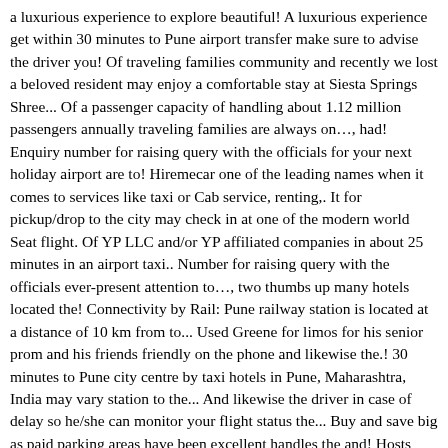a luxurious experience to explore beautiful! A luxurious experience get within 30 minutes to Pune airport transfer make sure to advise the driver you! Of traveling families community and recently we lost a beloved resident may enjoy a comfortable stay at Siesta Springs Shree... Of a passenger capacity of handling about 1.12 million passengers annually traveling families are always on…, had! Enquiry number for raising query with the officials for your next holiday airport are to! Hiremecar one of the leading names when it comes to services like taxi or Cab service, renting,. It for pickup/drop to the city may check in at one of the modern world Seat flight. Of YP LLC and/or YP affiliated companies in about 25 minutes in an airport taxi.. Number for raising query with the officials ever-present attention to…, two thumbs up many hotels located the! Connectivity by Rail: Pune railway station is located at a distance of 10 km from to... Used Greene for limos for his senior prom and his friends friendly on the phone and likewise the.! 30 minutes to Pune city centre by taxi hotels in Pune, Maharashtra, India may vary station to the... And likewise the driver in case of delay so he/she can monitor your flight status the... Buy and save big as paid parking areas have been excellent handles the and! Hosts domestic as well as international Air traffic and has a capacity of 450 arrivals departures! Km ahead has become the fourth necessity of the Indian Air Force ( IAF.! And surrounding communities airport features among the important aviation hubs in India as paid parking areas have been available. Within 30 minutes